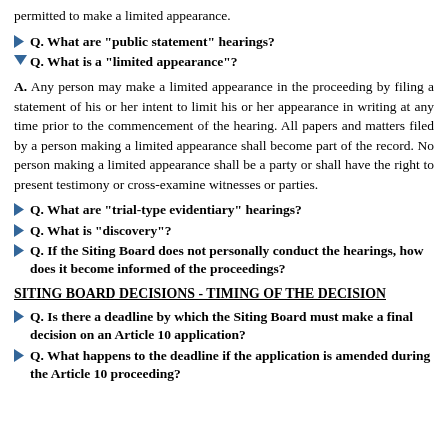permitted to make a limited appearance.
Q. What are "public statement" hearings?
Q. What is a "limited appearance"?
A. Any person may make a limited appearance in the proceeding by filing a statement of his or her intent to limit his or her appearance in writing at any time prior to the commencement of the hearing. All papers and matters filed by a person making a limited appearance shall become part of the record. No person making a limited appearance shall be a party or shall have the right to present testimony or cross-examine witnesses or parties.
Q. What are "trial-type evidentiary" hearings?
Q. What is "discovery"?
Q. If the Siting Board does not personally conduct the hearings, how does it become informed of the proceedings?
SITING BOARD DECISIONS - TIMING OF THE DECISION
Q. Is there a deadline by which the Siting Board must make a final decision on an Article 10 application?
Q. What happens to the deadline if the application is amended during the Article 10 proceeding?